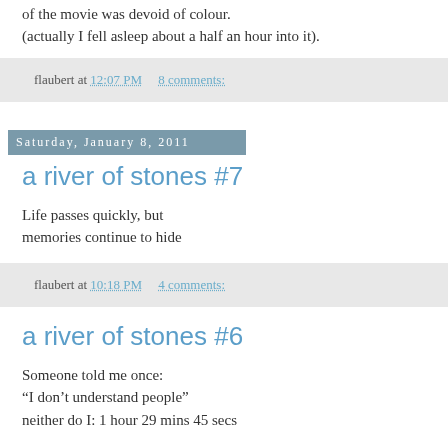of the movie was devoid of colour.
(actually I fell asleep about a half an hour into it).
flaubert at 12:07 PM    8 comments:
Saturday, January 8, 2011
a river of stones #7
Life passes quickly, but
memories continue to hide
flaubert at 10:18 PM    4 comments:
a river of stones #6
Someone told me once:
“I don’t understand people”
neither do I: 1 hour 29 mins 45 secs